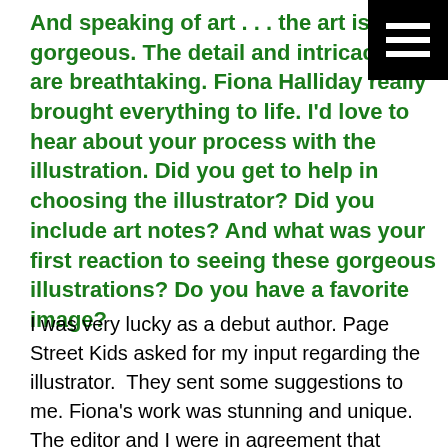And speaking of art . . . the art is gorgeous. The detail and intricacies are breathtaking. Fiona Halliday really brought everything to life. I'd love to hear about your process with the illustration. Did you get to help in choosing the illustrator? Did you include art notes? And what was your first reaction to seeing these gorgeous illustrations? Do you have a favorite image?
[Figure (other): Black square hamburger menu icon with three white horizontal lines, positioned in top-right corner]
I was very lucky as a debut author. Page Street Kids asked for my input regarding the illustrator.  They sent some suggestions to me. Fiona's work was stunning and unique. The editor and I were in agreement that Fiona was a great choice. The editor also knew she could depict the emotional